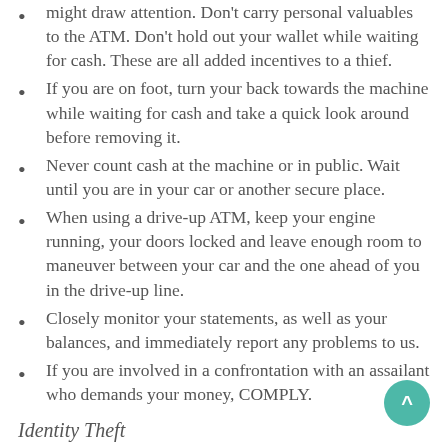might draw attention. Don't carry personal valuables to the ATM. Don't hold out your wallet while waiting for cash. These are all added incentives to a thief.
If you are on foot, turn your back towards the machine while waiting for cash and take a quick look around before removing it.
Never count cash at the machine or in public. Wait until you are in your car or another secure place.
When using a drive-up ATM, keep your engine running, your doors locked and leave enough room to maneuver between your car and the one ahead of you in the drive-up line.
Closely monitor your statements, as well as your balances, and immediately report any problems to us.
If you are involved in a confrontation with an assailant who demands your money, COMPLY.
Identity Theft